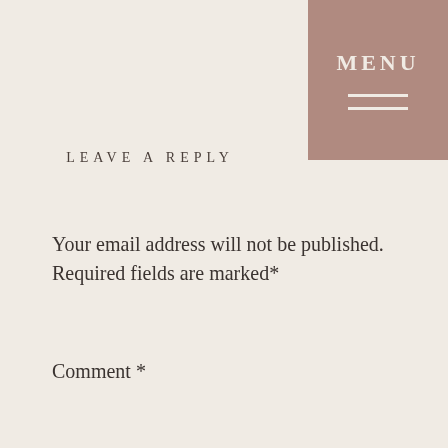LEAVE A REPLY
Your email address will not be published. Required fields are marked*
Comment *